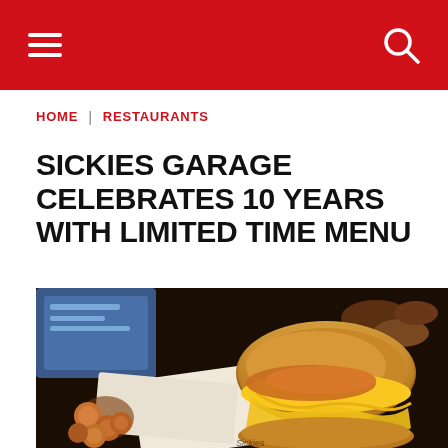Navigation header with hamburger menu and search icon
HOME | RESTAURANTS
SICKIES GARAGE CELEBRATES 10 YEARS WITH LIMITED TIME MENU
[Figure (photo): Close-up photo of a loaded cheeseburger with melted cheese and crispy toppings, with fried food items in the background on a restaurant table]